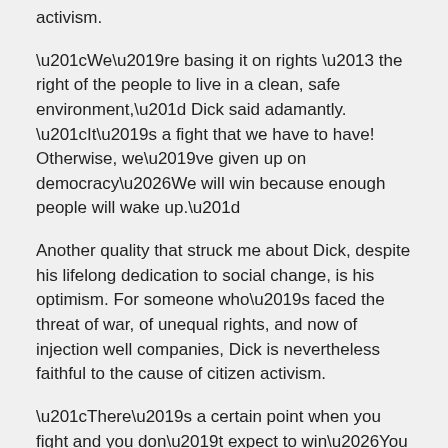activism.
“We’re basing it on rights – the right of the people to live in a clean, safe environment,” Dick said adamantly. “It’s a fight that we have to have! Otherwise, we’ve given up on democracy…We will win because enough people will wake up.”
Another quality that struck me about Dick, despite his lifelong dedication to social change, is his optimism. For someone who’s faced the threat of war, of unequal rights, and now of injection well companies, Dick is nevertheless faithful to the cause of citizen activism.
“There’s a certain point when you fight and you don’t expect to win…You have a duty to continue,” he said. “There’s no hope if there’s no activism.”